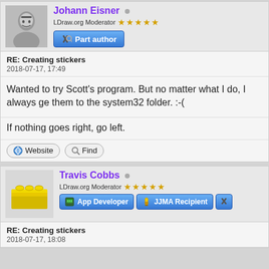Johann Eisner
LDraw.org Moderator
Part author
RE: Creating stickers
2018-07-17, 17:49
Wanted to try Scott's program. But no matter what I do, I always ge them to the system32 folder. :-(
If nothing goes right, go left.
Website
Find
Travis Cobbs
LDraw.org Moderator
App Developer
JJMA Recipient
RE: Creating stickers
2018-07-17, 18:08